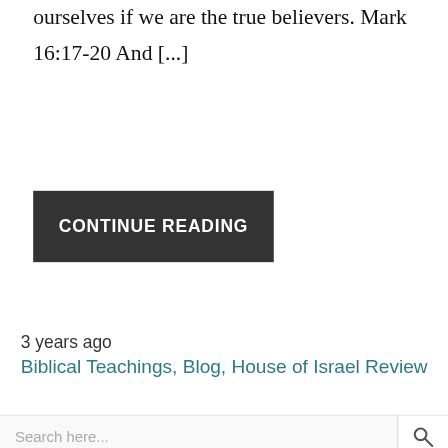should be no doubt on how to discern for ourselves if we are the true believers. Mark 16:17-20 And [...]
CONTINUE READING
3 years ago
Biblical Teachings, Blog, House of Israel Review
Search here...
Featured Teaching
[Figure (photo): A set of DVDs/CDs arranged in a circular pattern around a book or case titled 'Discipleship Training Program']